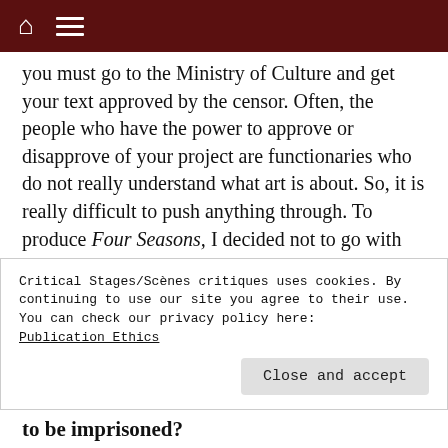you must go to the Ministry of Culture and get your text approved by the censor. Often, the people who have the power to approve or disapprove of your project are functionaries who do not really understand what art is about. So, it is really difficult to push anything through. To produce Four Seasons, I decided not to go with the system. We chose a smaller venue away from the city centre; we did not advertise it properly, just through social media, like Facebook. We invited friends but did not sell tickets officially or use any other marketing.
Critical Stages/Scènes critiques uses cookies. By continuing to use our site you agree to their use. You can check our privacy policy here: Publication Ethics
to be imprisoned?